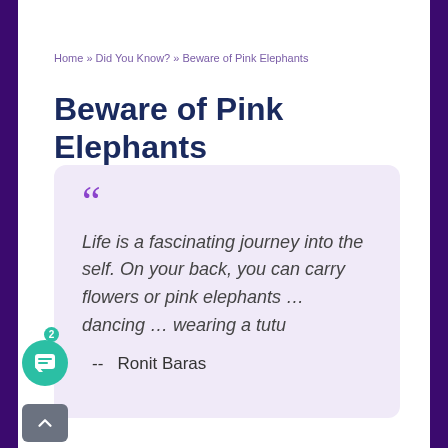Home » Did You Know? » Beware of Pink Elephants
Beware of Pink Elephants
Life is a fascinating journey into the self. On your back, you can carry flowers or pink elephants … dancing … wearing a tutu
-- Ronit Baras